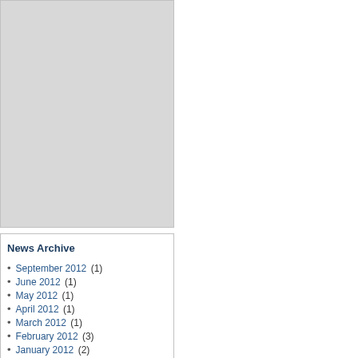[Figure (other): Gray placeholder box in the upper left portion of the page]
News Archive
September 2012 (1)
June 2012 (1)
May 2012 (1)
April 2012 (1)
March 2012 (1)
February 2012 (3)
January 2012 (2)
August 2011 (1)